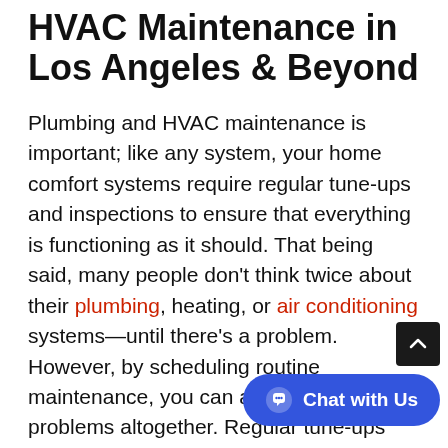HVAC Maintenance in Los Angeles & Beyond
Plumbing and HVAC maintenance is important; like any system, your home comfort systems require regular tune-ups and inspections to ensure that everything is functioning as it should. That being said, many people don't think twice about their plumbing, heating, or air conditioning systems—until there's a problem. However, by scheduling routine maintenance, you can avoid these problems altogether. Regular tune-ups can even help you save money by cutting your energy usage and improving the efficiency of your home or business's systems.